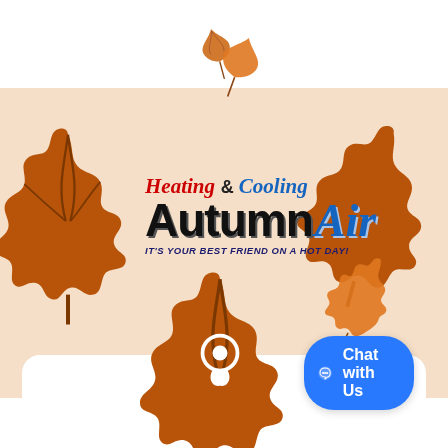[Figure (logo): Autumn Air Heating & Cooling company logo with autumn maple leaf decorations on a warm peach background. Logo text reads 'Heating & Cooling' in red and blue italic above 'Autumn Air' in large black and blue bold text. Tagline: IT'S YOUR BEST FRIEND ON A HOT DAY!]
Chat with Us